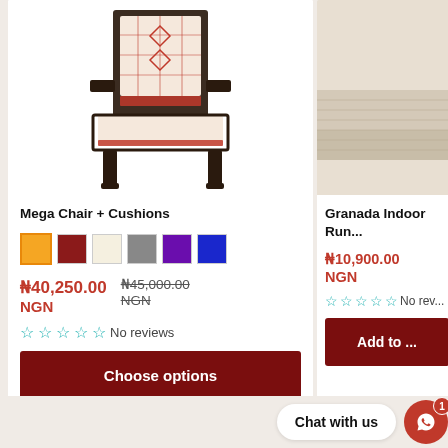[Figure (photo): Mega Chair with cushions product photo showing a dark wicker chair with red and cream patterned cushions]
Mega Chair + Cushions
[Figure (other): Color swatches: orange (selected), dark red, cream, gray, purple, blue]
₦40,250.00 NGN
₦45,000.00 NGN (strikethrough)
☆☆☆☆☆ No reviews
Choose options
[Figure (photo): Granada Indoor Rug product photo — partial view of a beige/tan rug]
Granada Indoor Run...
₦10,900.00 NGN
☆☆☆☆☆ No rev...
Add to ...
Chat with us